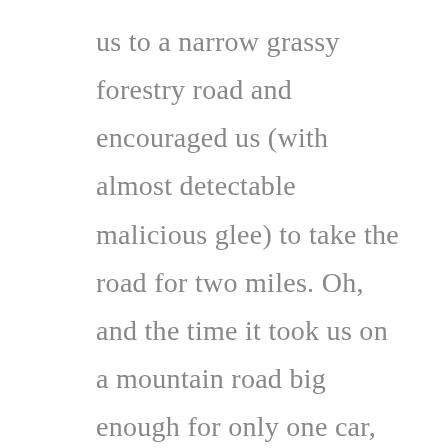us to a narrow grassy forestry road and encouraged us (with almost detectable malicious glee) to take the road for two miles. Oh, and the time it took us on a mountain road big enough for only one car, and a nice drop off the side, where a chicken literally crossed the road in front of us. But I digress. Now I still rely on the GPS, but I bring a map and printed directions to refer to as well. I need